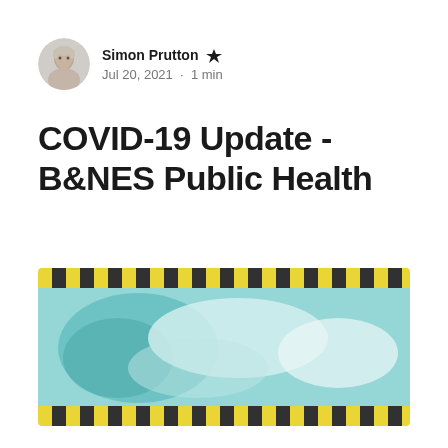Simon Prutton · Jul 20, 2021 · 1 min
COVID-19 Update - B&NES Public Health
[Figure (photo): Blurred image with yellow and black hazard tape stripes at top and bottom, teal/blue blurred imagery in the center suggesting a COVID/health related photo]
As yesterday saw the lifting of almost all remaining restrictions, we thought it more important than ever to give you an update on the local covid-19 situation and advice from